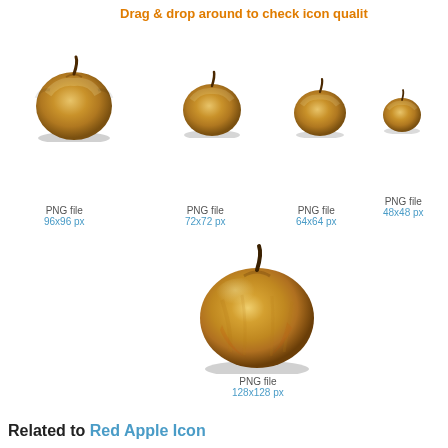Drag & drop around to check icon quality
[Figure (illustration): Golden apple icon at 96x96px]
PNG file
96x96 px
[Figure (illustration): Golden apple icon at 72x72px]
PNG file
72x72 px
[Figure (illustration): Golden apple icon at 64x64px]
PNG file
64x64 px
[Figure (illustration): Golden apple icon at 48x48px]
PNG file
48x48 px
[Figure (illustration): Golden apple icon at 128x128px]
PNG file
128x128 px
Related to Red Apple Icon